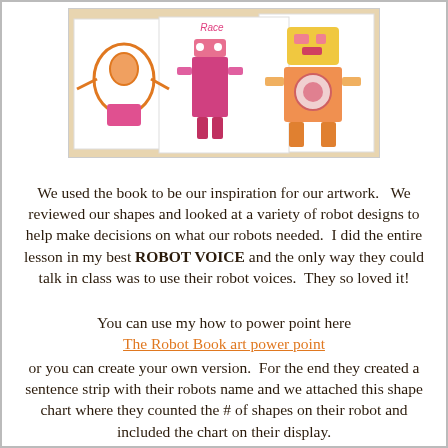[Figure (photo): Photo of children's robot artwork on paper — three colorful hand-drawn robot figures in pink, orange, and yellow watercolor on white sheets, spread out on a table.]
We used the book to be our inspiration for our artwork.   We reviewed our shapes and looked at a variety of robot designs to help make decisions on what our robots needed.  I did the entire lesson in my best ROBOT VOICE and the only way they could talk in class was to use their robot voices.  They so loved it!
You can use my how to power point here
The Robot Book art power point
or you can create your own version.  For the end they created a sentence strip with their robots name and we attached this shape chart where they counted the # of shapes on their robot and included the chart on their display.